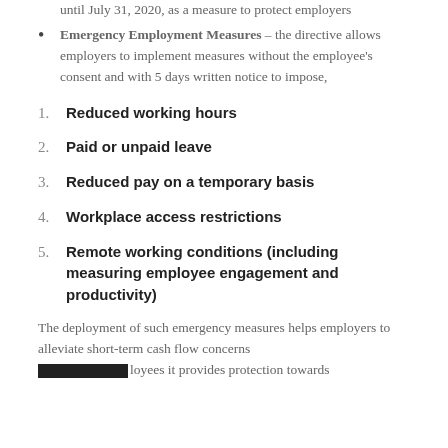until July 31, 2020, as a measure to protect employers
Emergency Employment Measures – the directive allows employers to implement measures without the employee's consent and with 5 days written notice to impose,
1. Reduced working hours
2. Paid or unpaid leave
3. Reduced pay on a temporary basis
4. Workplace access restrictions
5. Remote working conditions (including measuring employee engagement and productivity)
The deployment of such emergency measures helps employers to alleviate short-term cash flow concerns [redacted] employees it provides protection towards